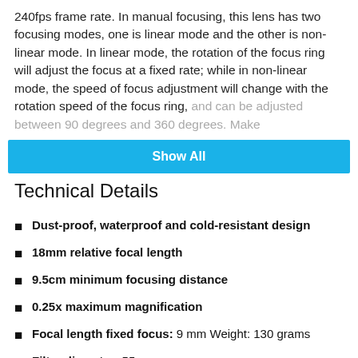240fps frame rate. In manual focusing, this lens has two focusing modes, one is linear mode and the other is non-linear mode. In linear mode, the rotation of the focus ring will adjust the focus at a fixed rate; while in non-linear mode, the speed of focus adjustment will change with the rotation speed of the focus ring, and can be adjusted between 90 degrees and 360 degrees. Make [faded text continues]
Show All
Technical Details
Dust-proof, waterproof and cold-resistant design
18mm relative focal length
9.5cm minimum focusing distance
0.25x maximum magnification
Focal length fixed focus: 9 mm Weight: 130 grams
Filter diameter: 55mm